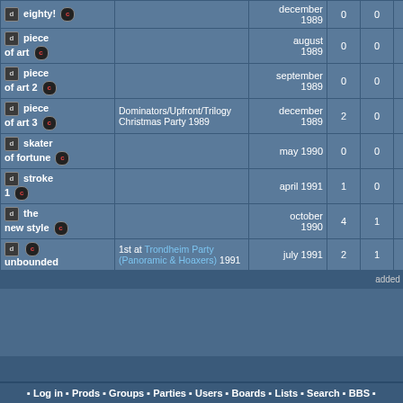| Name | Event | Date | ? | ? | ? | Score |
| --- | --- | --- | --- | --- | --- | --- |
| eighty! |  | december 1989 | 0 | 0 | 0 | 0.00 |
| piece of art |  | august 1989 | 0 | 0 | 0 | 0.00 |
| piece of art 2 |  | september 1989 | 0 | 0 | 0 | 0.00 |
| piece of art 3 | Dominators/Upfront/Trilogy Christmas Party 1989 | december 1989 | 2 | 0 | 0 | 1.00 |
| skater of fortune |  | may 1990 | 0 | 0 | 0 | 0.00 |
| stroke 1 |  | april 1991 | 1 | 0 | 0 | 1.00 |
| the new style |  | october 1990 | 4 | 1 | 0 | 0.80 |
| unbounded | 1st at Trondheim Party (Panoramic & Hoaxers) 1991 | july 1991 | 2 | 1 | 0 | 0.67 |
added on the 2003-08
Log in  Prods  Groups  Parties  Users  Boards  Lists  Search  BBS